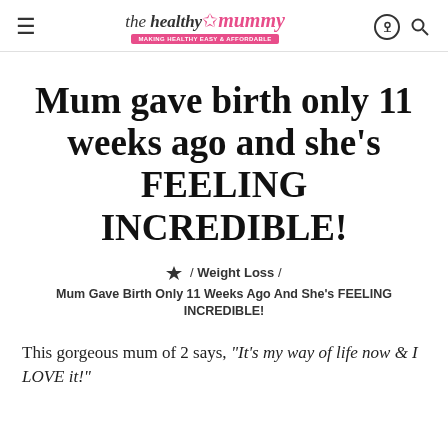the healthy mummy — Making Healthy EASY & AFFORDABLE
Mum gave birth only 11 weeks ago and she's FEELING INCREDIBLE!
/ Weight Loss / Mum Gave Birth Only 11 Weeks Ago And She's FEELING INCREDIBLE!
This gorgeous mum of 2 says, "It's my way of life now & I LOVE it!"